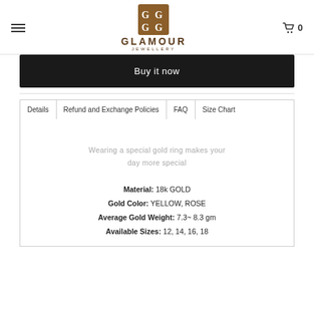GLAMOUR JEWELLERY
Buy it now
Details | Refund and Exchange Policies | FAQ | Size Chart
Wearing a special gold ring makes your day more special
Material: 18k GOLD
Gold Color: YELLOW, ROSE
Average Gold Weight: 7.3~ 8.3 gm
Available Sizes: 12, 14, 16, 18